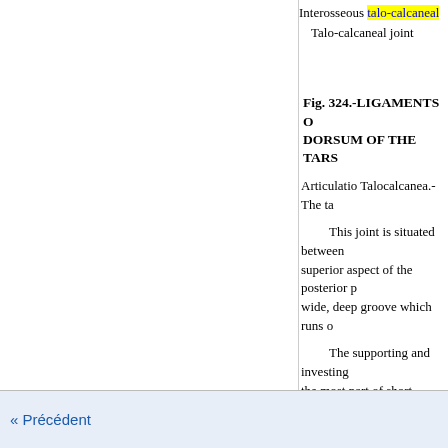Interosseous talo-calcaneal
Talo-calcaneal joint
Fig. 324.-LIGAMENTS OF DORSUM OF THE TARS
Articulatio Talocalcanea.-The ta
This joint is situated between superior aspect of the posterior p wide, deep groove which runs o
The supporting and investing the most part of short fibres, but of the ankle-joint. The fibrous s :
The ligamentum talocalcaneu relation to the anterior end of th antero-lateral aspect of the neck surface of the calcaneus.
The ligamentum talocalcaneu preceding ligament, and it is pla
« Précédent